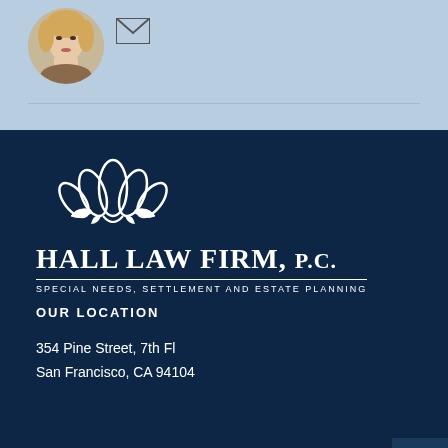[Figure (photo): Circular portrait photo of a blonde woman, professional headshot]
[Figure (logo): Hall Law Firm, P.C. logo with lotus flower icon in white on dark navy background. Text: HALL LAW FIRM, P.C. / SPECIAL NEEDS, SETTLEMENT AND ESTATE PLANNING]
OUR LOCATION
354 Pine Street, 7th Fl
San Francisco, CA 94104